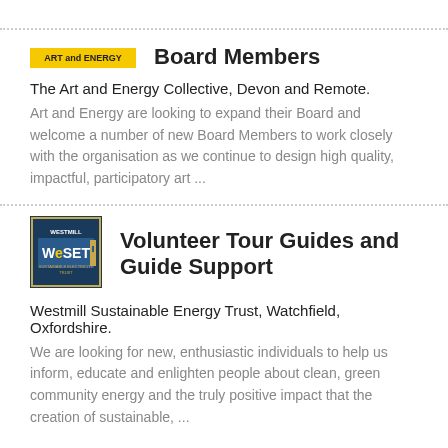[Figure (logo): Art and Energy yellow logo badge]
Board Members
The Art and Energy Collective, Devon and Remote.
Art and Energy are looking to expand their Board and welcome a number of new Board Members to work closely with the organisation as we continue to design high quality, impactful, participatory art ...
[Figure (logo): Westmill Sustainable Energy Trust (WeSET) logo]
Volunteer Tour Guides and Guide Support
Westmill Sustainable Energy Trust, Watchfield, Oxfordshire.
We are looking for new, enthusiastic individuals to help us inform, educate and enlighten people about clean, green community energy and the truly positive impact that the creation of sustainable, ...